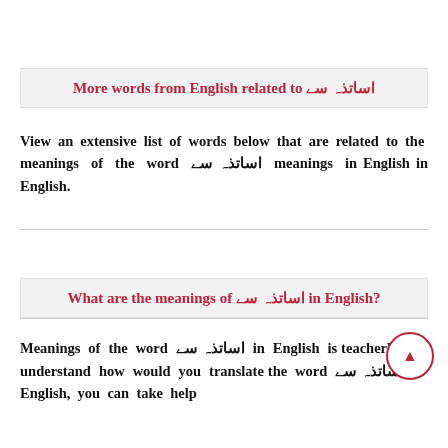More words from English related to اساتذہ سے
View an extensive list of words below that are related to the meanings of the word اساتذہ سے meanings in English in English.
What are the meanings of اساتذہ سے in English?
Meanings of the word اساتذہ سے in English is teacherly. To understand how would you translate the word اساتذہ سے in English, you can take help